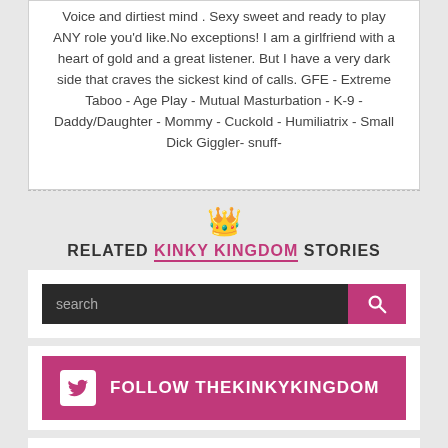Voice and dirtiest mind . Sexy sweet and ready to play ANY role you'd like.No exceptions! I am a girlfriend with a heart of gold and a great listener. But I have a very dark side that craves the sickest kind of calls. GFE - Extreme Taboo - Age Play - Mutual Masturbation - K-9 - Daddy/Daughter - Mommy - Cuckold - Humiliatrix - Small Dick Giggler- snuff-
RELATED KINKY KINGDOM STORIES
[Figure (screenshot): Search bar with dark background and pink search button with magnifying glass icon]
[Figure (screenshot): Pink follow bar with Twitter bird icon and text FOLLOW THEKINKYKINGDOM]